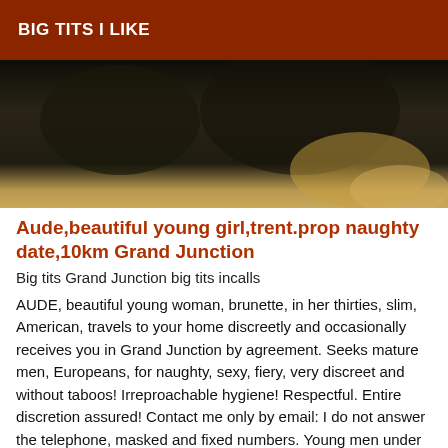BIG TITS I LIKE
[Figure (photo): Dark, low-light photograph showing a floral patterned fabric or upholstery in the background with partial skin tones visible at the bottom right.]
Aude,beautiful young girl,trent.prop naughty date,10km Grand Junction
Big tits Grand Junction big tits incalls
AUDE, beautiful young woman, brunette, in her thirties, slim, American, travels to your home discreetly and occasionally receives you in Grand Junction by agreement. Seeks mature men, Europeans, for naughty, sexy, fiery, very discreet and without taboos! Irreproachable hygiene! Respectful. Entire discretion assured! Contact me only by email: I do not answer the telephone, masked and fixed numbers. Young men under 30 years abstain: I will block you. Only by MAIL: